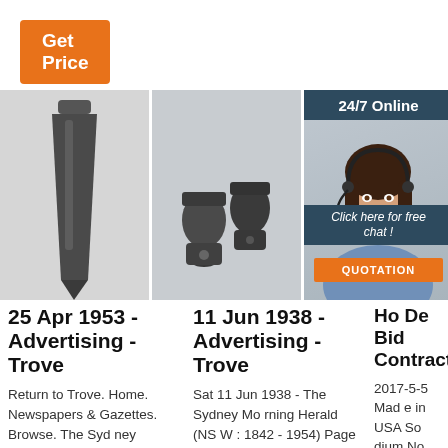[Figure (other): Orange 'Get Price' button]
[Figure (photo): Metal excavator tooth/spike part on white background]
[Figure (photo): Metal coupling/connector parts on light background]
[Figure (photo): Customer service woman with headset; overlays: '24/7 Online', 'Click here for free chat!', 'QUOTATION' button]
25 Apr 1953 - Advertising - Trove
11 Jun 1938 - Advertising - Trove
Ho De Bid Contracts
Return to Trove. Home. Newspapers & Gazettes. Browse. The Sydney Morning Her
Sat 11 Jun 1938 - The Sydney Morning Herald (NSW : 1842 - 1954) Page 1 - Advertis
2017-5-5 Made in USA So dium No Salt Ad ded No Trans Fa